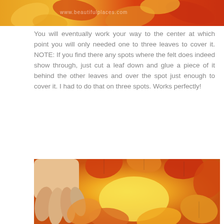[Figure (photo): Top portion of a craft project photo showing autumn leaves arranged on a surface, with a website watermark visible]
You will eventually work your way to the center at which point you will only needed one to three leaves to cover it. NOTE: If you find there any spots where the felt does indeed show through, just cut a leaf down and glue a piece of it behind the other leaves and over the spot just enough to cover it. I had to do that on three spots. Works perfectly!
[Figure (photo): Close-up photo of a hand placing artificial autumn maple leaves (in orange, red, and yellow) in a circular arrangement on what appears to be a felt-covered plate, viewed from above showing the center still mostly uncovered]